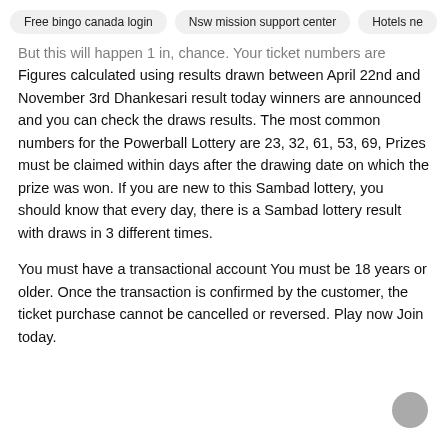Free bingo canada login | Nsw mission support center | Hotels ne
But this will happen 1 in, chance. Your ticket numbers are Figures calculated using results drawn between April 22nd and November 3rd Dhankesari result today winners are announced and you can check the draws results. The most common numbers for the Powerball Lottery are 23, 32, 61, 53, 69, Prizes must be claimed within days after the drawing date on which the prize was won. If you are new to this Sambad lottery, you should know that every day, there is a Sambad lottery result with draws in 3 different times.
You must have a transactional account You must be 18 years or older. Once the transaction is confirmed by the customer, the ticket purchase cannot be cancelled or reversed. Play now Join today.